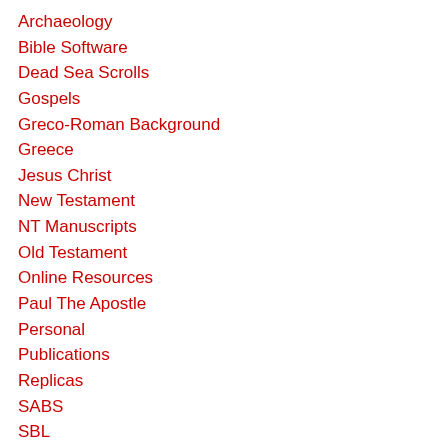Archaeology
Bible Software
Dead Sea Scrolls
Gospels
Greco-Roman Background
Greece
Jesus Christ
New Testament
NT Manuscripts
Old Testament
Online Resources
Paul The Apostle
Personal
Publications
Replicas
SABS
SBL
Seminar
Seminary
Turkey